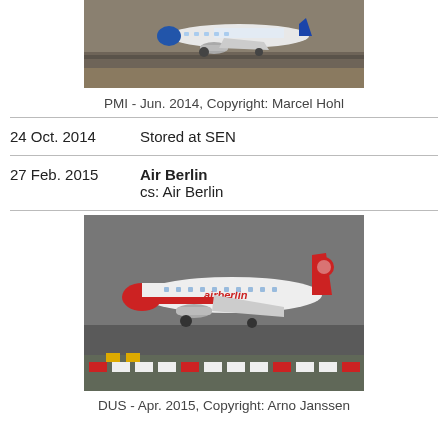[Figure (photo): Airplane on runway, Thomas Cook livery, blue and white aircraft at PMI airport, June 2014]
PMI - Jun. 2014, Copyright: Marcel Hohl
24 Oct. 2014    Stored at SEN
27 Feb. 2015    Air Berlin
cs: Air Berlin
[Figure (photo): Air Berlin red and white aircraft on runway at DUS airport, April 2015]
DUS - Apr. 2015, Copyright: Arno Janssen